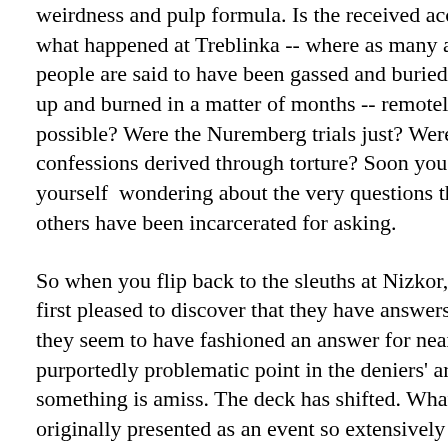weirdness and pulp formula. Is the received account of what happened at Treblinka -- where as many as 900,000 people are said to have been gassed and buried then dug up and burned in a matter of months -- remotely possible? Were the Nuremberg trials just? Were key confessions derived through torture? Soon you find yourself  wondering about the very questions that the others have been incarcerated for asking.
So when you flip back to the sleuths at Nizkor, you are at first pleased to discover that they have answers. Indeed, they seem to have fashioned an answer for nearly every purportedly problematic point in the deniers' arsenal. Yet something is amiss. The deck has shifted. What was originally presented as an event so extensively documented as to defy rational doubt, now assumes the form a position resolved in strange